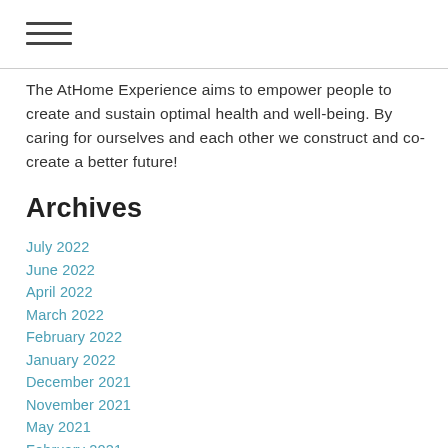[Figure (other): Hamburger menu icon (three horizontal lines)]
The AtHome Experience aims to empower people to create and sustain optimal health and well-being. By caring for ourselves and each other we construct and co-create a better future!
Archives
July 2022
June 2022
April 2022
March 2022
February 2022
January 2022
December 2021
November 2021
May 2021
February 2021
January 2021